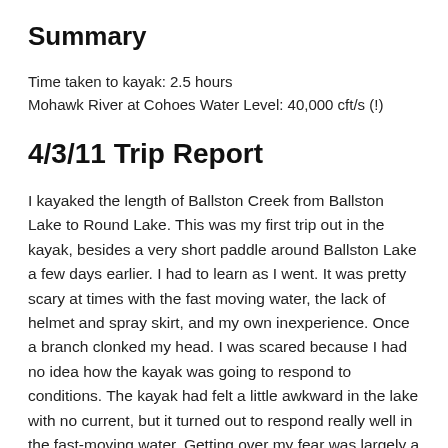Summary
Time taken to kayak: 2.5 hours
Mohawk River at Cohoes Water Level: 40,000 cft/s (!)
4/3/11 Trip Report
I kayaked the length of Ballston Creek from Ballston Lake to Round Lake. This was my first trip out in the kayak, besides a very short paddle around Ballston Lake a few days earlier. I had to learn as I went. It was pretty scary at times with the fast moving water, the lack of helmet and spray skirt, and my own inexperience. Once a branch clonked my head. I was scared because I had no idea how the kayak was going to respond to conditions. The kayak had felt a little awkward in the lake with no current, but it turned out to respond really well in the fast-moving water. Getting over my fear was largely a matter of learning that